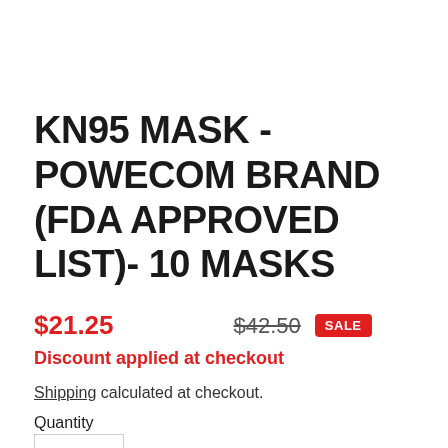KN95 MASK - POWECOM BRAND (FDA APPROVED LIST)- 10 MASKS
$21.25   $42.50   SALE
Discount applied at checkout
Shipping calculated at checkout.
Quantity
1